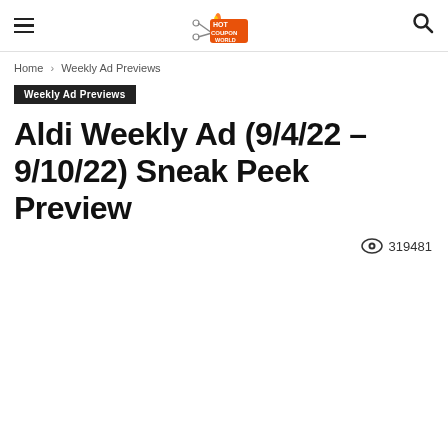Hot Coupon World
Home › Weekly Ad Previews
Weekly Ad Previews
Aldi Weekly Ad (9/4/22 – 9/10/22) Sneak Peek Preview
319481